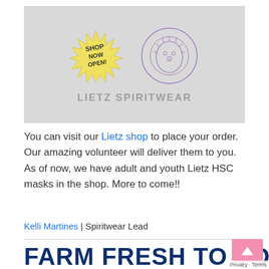[Figure (logo): Lietz Spiritwear banner on gray background. Left side has a yellow starburst badge with text 'SHOP NOW OPEN!'. Center has a purple lion head circular logo. Below is the brand name 'LIETZ SPIRITWEAR' in bold gray letters.]
You can visit our Lietz shop to place your order. Our amazing volunteer will deliver them to you. As of now, we have adult and youth Lietz HSC masks in the shop. More to come!!
Kelli Martines | Spiritwear Lead
FARM FRESH TO YO…